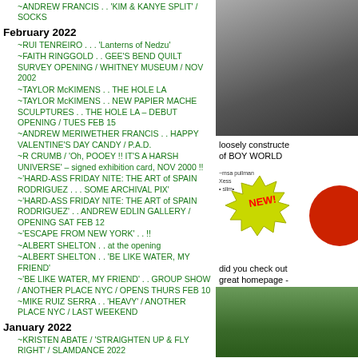~ANDREW FRANCIS . . 'KIM & KANYE SPLIT' / SOCKS
February 2022
~RUI TENREIRO . . . 'Lanterns of Nedzu'
~FAITH RINGGOLD . . GEE'S BEND QUILT SURVEY OPENING / WHITNEY MUSEUM / NOV 2002
~TAYLOR McKIMENS . . THE HOLE LA
~TAYLOR McKIMENS . . NEW PAPIER MACHE SCULPTURES . . THE HOLE LA – DEBUT OPENING / TUES FEB 15
~ANDREW MERIWETHER FRANCIS . . HAPPY VALENTINE'S DAY CANDY / P.A.D.
~R CRUMB / 'Oh, POOEY !! IT'S A HARSH UNIVERSE' – signed exhibition card, NOV 2000 !!
~'HARD-ASS FRIDAY NITE: THE ART of SPAIN RODRIGUEZ . . . SOME ARCHIVAL PIX'
~'HARD-ASS FRIDAY NITE: THE ART of SPAIN RODRIGUEZ' . . ANDREW EDLIN GALLERY / OPENING SAT FEB 12
~'ESCAPE FROM NEW YORK' . . !!
~ALBERT SHELTON . . at the opening
~ALBERT SHELTON . . 'BE LIKE WATER, MY FRIEND'
~'BE LIKE WATER, MY FRIEND' . . GROUP SHOW / ANOTHER PLACE NYC / OPENS THURS FEB 10
~MIKE RUIZ SERRA . . 'HEAVY' / ANOTHER PLACE NYC / LAST WEEKEND
January 2022
~KRISTEN ABATE / 'STRAIGHTEN UP & FLY RIGHT' / SLAMDANCE 2022
~SLAMDANCE FILM FESTIVAL 2022 / JAN 27 – FEB 6
~RED ENVELOPE SHOW 2022 / YEAR of the TIGER . . is now online !!
~EVAH FAN . . YEAR of the TIGER / TAKE CARE – of YOURSELF !
~ANNIE WONG . . YEAR of the TIGER / HOPE YOU GET RICH !
[Figure (photo): Dark colored background photo, appears to show a dark object]
loosely constructe of BOY WORLD
[Figure (illustration): NEW! badge starburst in yellow/green with red partial circle, small text above]
did you check out great homepage -
[Figure (photo): Green foliage/garden photo]